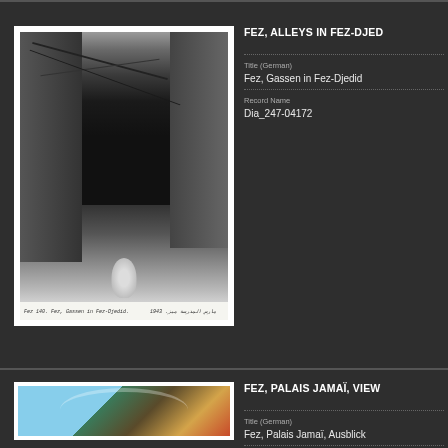FEZ, ALLEYS IN FEZ-DJED...
Title (German)
Fez, Gassen in Fez-Djedid
Record Name
Dia_247-04172
[Figure (photo): Black and white photograph of a narrow alley in Fez-Djedid with figures and overhead wires, with handwritten caption at bottom]
FEZ, PALAIS JAMAÏ, VIEW...
Title (German)
Fez, Palais Jamaï, Ausblick
Caption
Coloring of the slide by Margrit...
Caption (German)
[Figure (photo): Colorized slide showing an arched doorway or window at Palais Jamaï, Fez, with blue sky and ornate interior visible]